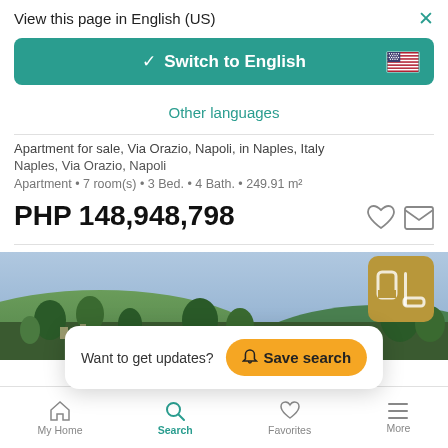View this page in English (US)
Switch to English
Other languages
Apartment for sale, Via Orazio, Napoli, in Naples, Italy
Naples, Via Orazio, Napoli
Apartment • 7 room(s) • 3 Bed. • 4 Bath. • 249.91 m²
PHP 148,948,798
[Figure (screenshot): Property listing photo showing green hillside landscape]
Want to get updates?  Save search
My Home   Search   Favorites   More